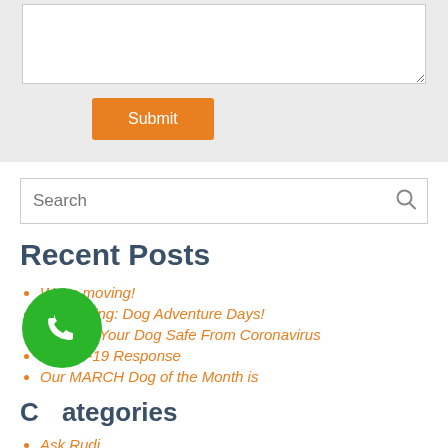[Figure (screenshot): Textarea input box (white, with resize handle) at top of form area with grey background]
Submit
[Figure (screenshot): Search input box with search icon on the right]
Recent Posts
We're moving!
Introducing: Dog Adventure Days!
Keeping Your Dog Safe From Coronavirus
COVID-19 Response
Our MARCH Dog of the Month is
Categories
Ask Rudi
[Figure (other): Green circular phone/call button floating over content]